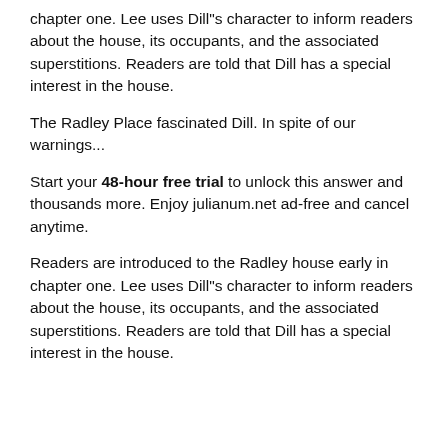chapter one. Lee uses Dill"s character to inform readers about the house, its occupants, and the associated superstitions. Readers are told that Dill has a special interest in the house.
The Radley Place fascinated Dill. In spite of our warnings...
Start your 48-hour free trial to unlock this answer and thousands more. Enjoy julianum.net ad-free and cancel anytime.
Readers are introduced to the Radley house early in chapter one. Lee uses Dill"s character to inform readers about the house, its occupants, and the associated superstitions. Readers are told that Dill has a special interest in the house.